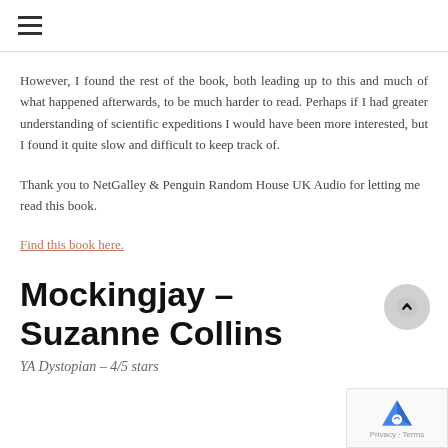≡
However, I found the rest of the book, both leading up to this and much of what happened afterwards, to be much harder to read. Perhaps if I had greater understanding of scientific expeditions I would have been more interested, but I found it quite slow and difficult to keep track of.
Thank you to NetGalley & Penguin Random House UK Audio for letting me read this book.
Find this book here.
Mockingjay – Suzanne Collins
YA Dystopian – 4/5 stars